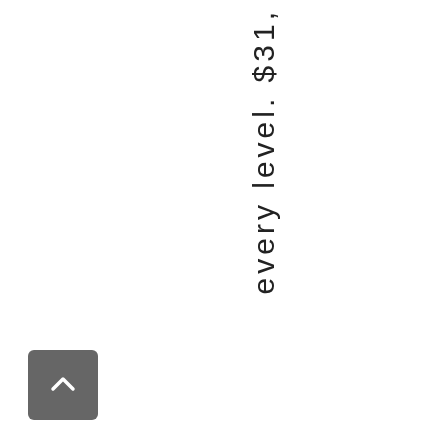every level. $31,
[Figure (other): Back to top button — grey rounded square with upward-pointing chevron arrow icon]